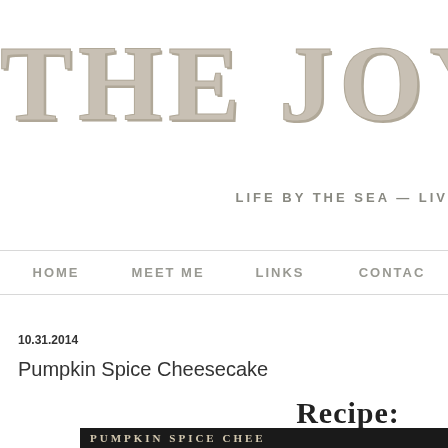THE JOY
LIFE BY THE SEA — LIV
HOME   MEET ME   LINKS   CONTAC
10.31.2014
Pumpkin Spice Cheesecake
Recipe:
PUMPKIN SPICE CHEE